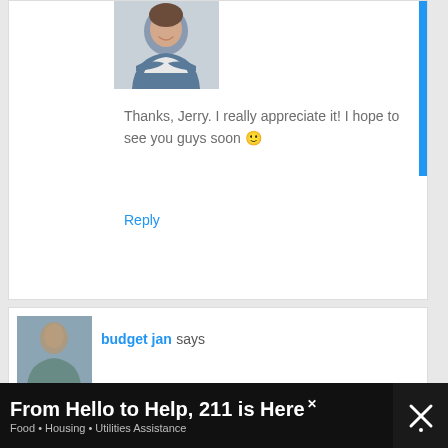[Figure (photo): Profile photo of a smiling woman with crossed arms, wearing a denim jacket over white shirt]
Thanks, Jerry. I really appreciate it! I hope to see you guys soon 🙂
Reply
[Figure (photo): Partial profile photo thumbnail of budget jan]
budget jan says
From Hello to Help, 211 is Here
Food • Housing • Utilities Assistance